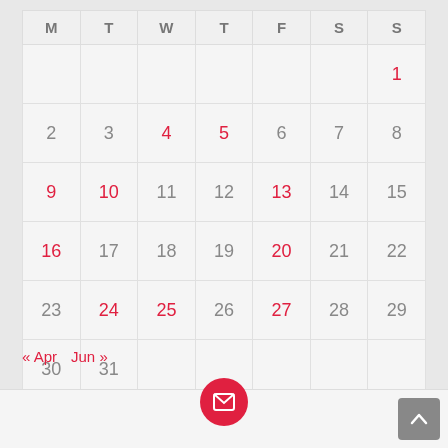| M | T | W | T | F | S | S |
| --- | --- | --- | --- | --- | --- | --- |
|  |  |  |  |  |  | 1 |
| 2 | 3 | 4 | 5 | 6 | 7 | 8 |
| 9 | 10 | 11 | 12 | 13 | 14 | 15 |
| 16 | 17 | 18 | 19 | 20 | 21 | 22 |
| 23 | 24 | 25 | 26 | 27 | 28 | 29 |
| 30 | 31 |  |  |  |  |  |
« Apr   Jun »
[Figure (illustration): Red circular mail/envelope button and grey square up-arrow button at bottom of page]